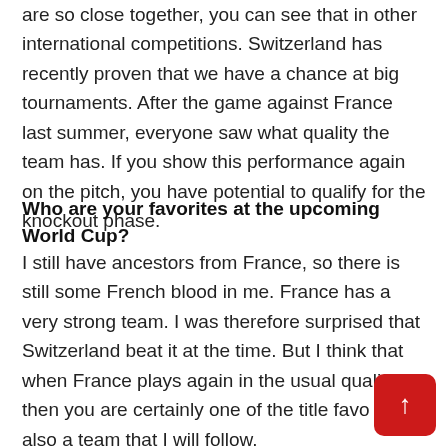are so close together, you can see that in other international competitions. Switzerland has recently proven that we have a chance at big tournaments. After the game against France last summer, everyone saw what quality the team has. If you show this performance again on the pitch, you have potential to qualify for the knockout phase.
Who are your favorites at the upcoming World Cup?
I still have ancestors from France, so there is still some French blood in me. France has a very strong team. I was therefore surprised that Switzerland beat it at the time. But I think that when France plays again in the usual quality, then you are certainly one of the title favo... and also a team that I will follow.